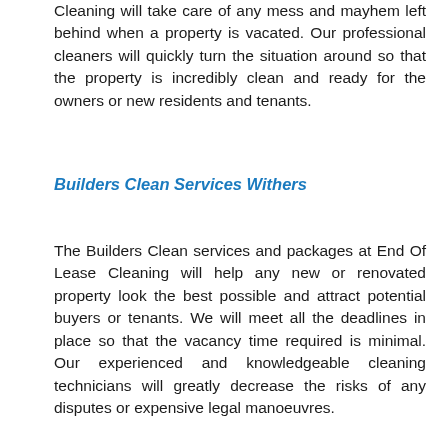Cleaning will take care of any mess and mayhem left behind when a property is vacated. Our professional cleaners will quickly turn the situation around so that the property is incredibly clean and ready for the owners or new residents and tenants.
Builders Clean Services Withers
The Builders Clean services and packages at End Of Lease Cleaning will help any new or renovated property look the best possible and attract potential buyers or tenants. We will meet all the deadlines in place so that the vacancy time required is minimal. Our experienced and knowledgeable cleaning technicians will greatly decrease the risks of any disputes or expensive legal manoeuvres.
Office And Commercial Cleaning Services Withers
The office cleaning and commercial cleaning services and packages from End Of Lease Cleaning will handle any cleaning needs that may occur in these settings. Whether daily cleaning tasks are desired or a complete monthly or annual scrubbing is